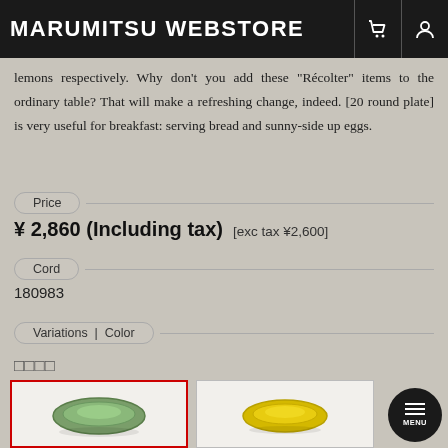MARUMITSU WEBSTORE
lemons respectively. Why don't you add these "Récolter" items to the ordinary table? That will make a refreshing change, indeed. [20 round plate] is very useful for breakfast: serving bread and sunny-side up eggs.
Price
¥ 2,860 (Including tax)  [exc tax ¥2,600]
Cord
180983
Variations | Color
□□□□
[Figure (photo): Green round plate on white background, selected (red border)]
[Figure (photo): Yellow round plate on white background]